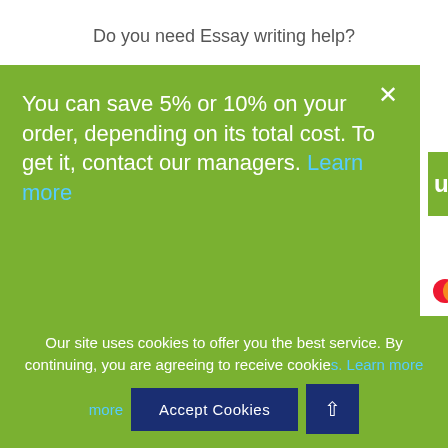Do you need Essay writing help?
You can save 5% or 10% on your order, depending on its total cost. To get it, contact our managers. Learn more
ur essay now!
vice Pages
A-Z Articles
About Us
How it works
Our site uses cookies to offer you the best service. By continuing, you are agreeing to receive cookie more
Accept Cookies